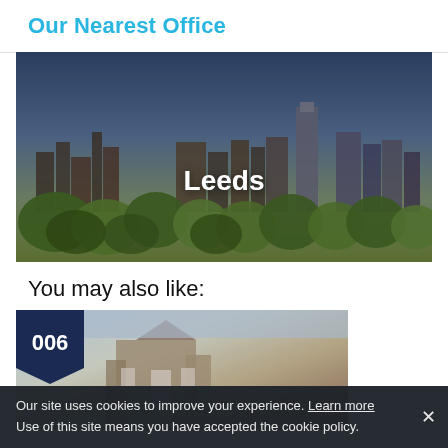Our Nearest Office
[Figure (photo): Aerial cityscape of Leeds skyline with buildings, trees and blue sky. White text 'Leeds' centered over the image.]
You may also like:
[Figure (photo): Card with dark navy badge showing '006' with chevron arrow, overlaid on photo of a stone building under blue sky.]
Our site uses cookies to improve your experience. Learn more Use of this site means you have accepted the cookie policy.